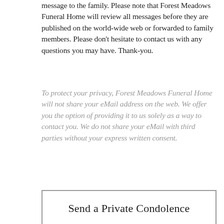message to the family. Please note that Forest Meadows Funeral Home will review all messages before they are published on the world-wide web or forwarded to family members. Please don't hesitate to contact us with any questions you may have. Thank-you.
To protect your privacy, Forest Meadows Funeral Home will not share your eMail address on the web. We offer you the option of providing it to us solely as a way to contact you. We do not share your eMail with third parties without your express written consent.
Send a Private Condolence